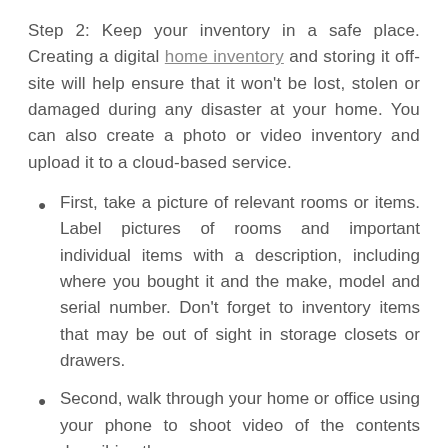Step 2: Keep your inventory in a safe place. Creating a digital home inventory and storing it off-site will help ensure that it won't be lost, stolen or damaged during any disaster at your home. You can also create a photo or video inventory and upload it to a cloud-based service.
First, take a picture of relevant rooms or items. Label pictures of rooms and important individual items with a description, including where you bought it and the make, model and serial number. Don't forget to inventory items that may be out of sight in storage closets or drawers.
Second, walk through your home or office using your phone to shoot video of the contents describing them as you go.